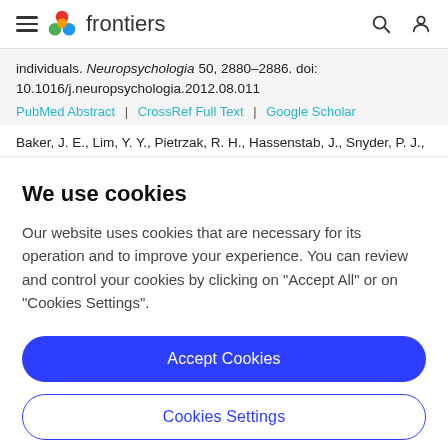frontiers
individuals. Neuropsychologia 50, 2880–2886. doi: 10.1016/j.neuropsychologia.2012.08.011
PubMed Abstract | CrossRef Full Text | Google Scholar
Baker, J. E., Lim, Y. Y., Pietrzak, R. H., Hassenstab, J., Snyder, P. J.,
We use cookies
Our website uses cookies that are necessary for its operation and to improve your experience. You can review and control your cookies by clicking on "Accept All" or on "Cookies Settings".
Accept Cookies
Cookies Settings